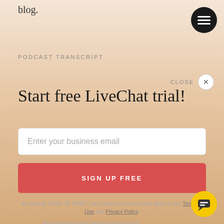blog.
[Figure (illustration): Dark circular menu button with three horizontal lines (hamburger icon) in top right corner]
PODCAST TRANSCRIPT
CLOSE ✕
Start free LiveChat trial!
Enter your business email
SIGN UP FREE
By clicking "SIGN UP FREE" you create an account and agree to our Terms of Use and Privacy Policy.
Not convinced yet? Take the product tour!
[Figure (illustration): Yellow circular chat button with chat bubble icon in bottom right corner]